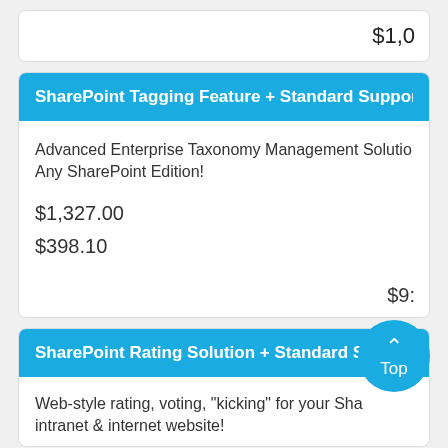$1,0...
SharePoint Tagging Feature + Standard Support
Advanced Enterprise Taxonomy Management Solution for Any SharePoint Edition!
$1,327.00
$398.10
$9...
SharePoint Rating Solution + Standard Support
Web-style rating, voting, "kicking" for your SharePoint intranet & internet website!